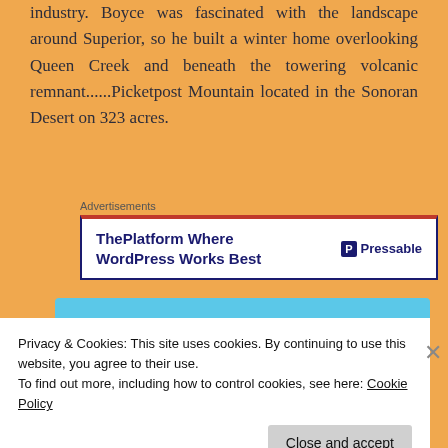industry. Boyce was fascinated with the landscape around Superior, so he built a winter home overlooking Queen Creek and beneath the towering volcanic remnant......Picketpost Mountain located in the Sonoran Desert on 323 acres.
Advertisements
[Figure (screenshot): Advertisement banner for Pressable: 'ThePlatform Where WordPress Works Best' with Pressable logo]
Privacy & Cookies: This site uses cookies. By continuing to use this website, you agree to their use.
To find out more, including how to control cookies, see here: Cookie Policy
Close and accept